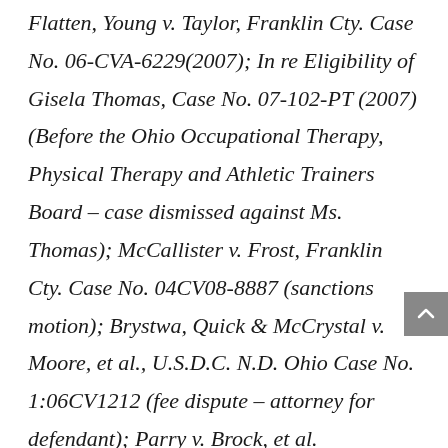Flatten, Young v. Taylor, Franklin Cty. Case No. 06-CVA-6229(2007); In re Eligibility of Gisela Thomas, Case No. 07-102-PT (2007) (Before the Ohio Occupational Therapy, Physical Therapy and Athletic Trainers Board – case dismissed against Ms. Thomas); McCallister v. Frost, Franklin Cty. Case No. 04CV08-8887 (sanctions motion); Brystwa, Quick & McCrystal v. Moore, et al., U.S.D.C. N.D. Ohio Case No. 1:06CV1212 (fee dispute – attorney for defendant); Parry v. Brock, et al. Arbitration No. 06-01 (Columbus Bar Assn. – fee dispute); Capital City Partners, L.L.P., et al. v. Shottenstein, Zox & Dunn, L.PA., Arbitration Case No. 06-08-2002(Columbus Bar Assn. – fee dispute); Board of Psychology v. Wenke, (2006 licensing hearing); Bears v. Smith, Franklin Cty. Common Pleas Case No. Case No. 05CV1054...